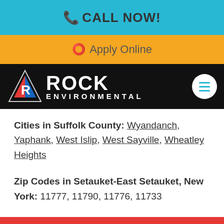📞 CALL NOW!
⭕ Apply Online
[Figure (logo): Rock Environmental company logo with triangular icon on black background]
Cities in Suffolk County: Wyandanch, Yaphank, West Islip, West Sayville, Wheatley Heights
Zip Codes in Setauket-East Setauket, New York: 11777, 11790, 11776, 11733
Call Now!